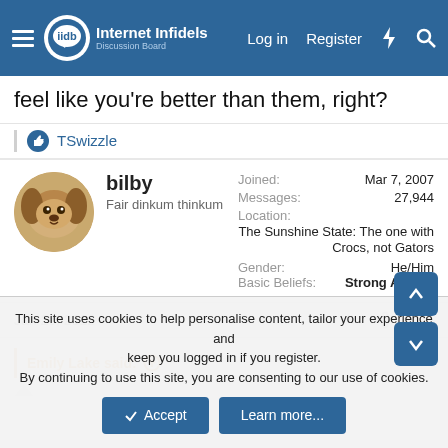Internet Infidels Discussion Board — Log in | Register
feel like you're better than them, right?
TSwizzle
bilby
Fair dinkum thinkum
Joined: Mar 7, 2007
Messages: 27,944
Location: The Sunshine State: The one with Crocs, not Gators
Gender: He/Him
Basic Beliefs: Strong Atheist
Jan 26, 2022  #575
Emily Lake said:
This site uses cookies to help personalise content, tailor your experience and keep you logged in if you register.
By continuing to use this site, you are consenting to our use of cookies.